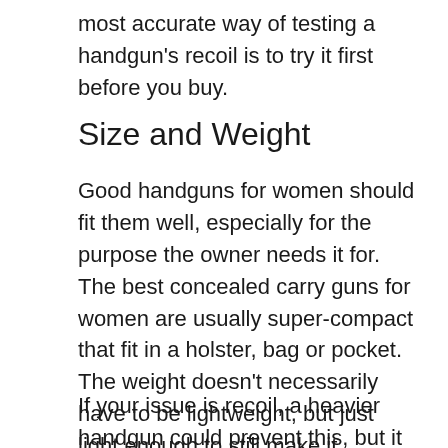most accurate way of testing a handgun's recoil is to try it first before you buy.
Size and Weight
Good handguns for women should fit them well, especially for the purpose the owner needs it for. The best concealed carry guns for women are usually super-compact that fit in a holster, bag or pocket. The weight doesn't necessarily have to be lightweight, but just light enough to still make it comfortable to shoot and "carry" everywhere.
If your issue is recoil, a heavier handgun could prevent this, but it would also mean it may not be comfortable for women with